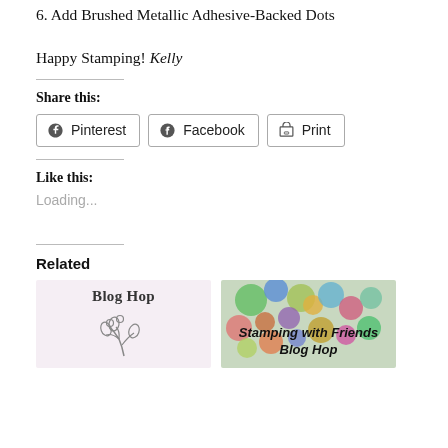6. Add Brushed Metallic Adhesive-Backed Dots
Happy Stamping! Kelly
Share this:
Pinterest  Facebook  Print
Like this:
Loading...
Related
[Figure (illustration): Blog Hop thumbnail with floral illustration on light pink background]
[Figure (illustration): Stamping with Friends Blog Hop thumbnail with colorful circles on green/blue background]